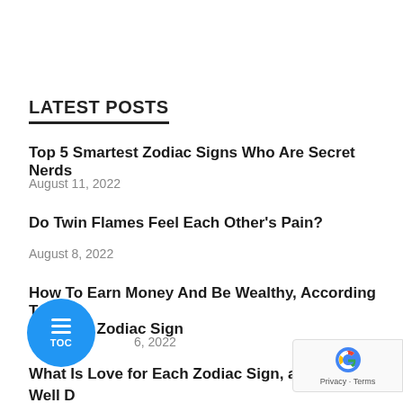LATEST POSTS
Top 5 Smartest Zodiac Signs Who Are Secret Nerds
August 11, 2022
Do Twin Flames Feel Each Other's Pain?
August 8, 2022
How To Earn Money And Be Wealthy, According To Zodiac Sign
6, 2022
What Is Love for Each Zodiac Sign, and How Well D They Deal With It?